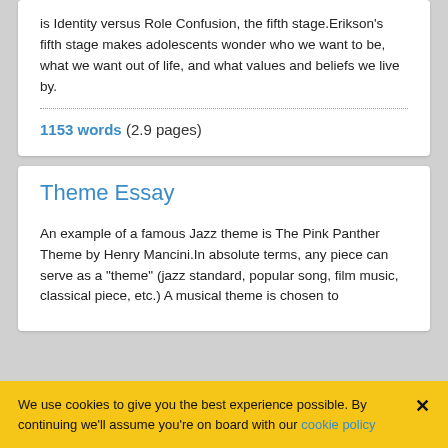is Identity versus Role Confusion, the fifth stage.Erikson's fifth stage makes adolescents wonder who we want to be, what we want out of life, and what values and beliefs we live by.
1153 words (2.9 pages)
Theme Essay
An example of a famous Jazz theme is The Pink Panther Theme by Henry Mancini.In absolute terms, any piece can serve as a "theme" (jazz standard, popular song, film music, classical piece, etc.) A musical theme is chosen to
We use cookies to give you the best experience possible. By continuing we'll assume you're on board with our cookie policy